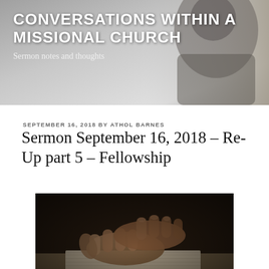CONVERSATIONS WITHIN A MISSIONAL CHURCH
Sermon notes and thoughts
SEPTEMBER 16, 2018 BY ATHOL BARNES
Sermon September 16, 2018 – Re-Up part 5 – Fellowship
[Figure (photo): Sepia-toned photograph of two hands clasped together resting on an open notebook on a wooden table]